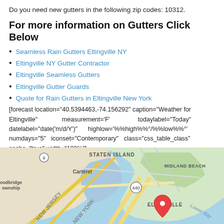Do you need new gutters in the following zip codes: 10312.
For more information on Gutters Click Below
Seamless Rain Gutters Eltingville NY
Eltingville NY Gutter Contractor
Eltingville Seamless Gutters
Eltingville Gutter Guards
Quote for Rain Gutters in Eltingville New York
[forecast location="40.5394463,-74.156292" caption="Weather for Eltingville" measurement='F' todaylabel="Today" datelabel="date('m/d/Y')" highlow='%%high%%°/%%low%%°' numdays="5" iconset="Contemporary" class="css_table_class" cache="true" width="100%"]
[Figure (map): Google map showing Eltingville area in Staten Island, New York, with surrounding areas including New Jersey, Carteret, Midland Beach, and Lower Bay. A red location pin marks Eltingville.]